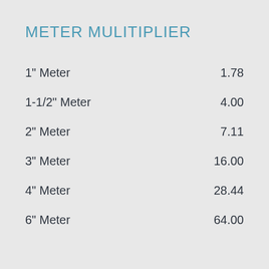METER MULITIPLIER
|  |  |
| --- | --- |
| 1" Meter | 1.78 |
| 1-1/2" Meter | 4.00 |
| 2" Meter | 7.11 |
| 3" Meter | 16.00 |
| 4" Meter | 28.44 |
| 6" Meter | 64.00 |